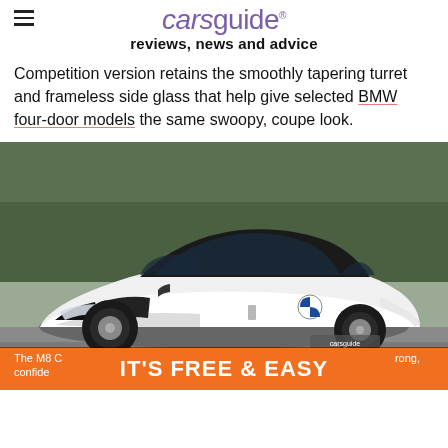carsguide reviews, news and advice
Competition version retains the smoothly tapering turret and frameless side glass that help give selected BMW four-door models the same swoopy, coupe look.
[Figure (photo): White BMW M8 Competition Gran Coupe parked outdoors with trees in background. The car is shown from a front three-quarter angle, highlighting its sleek fastback roofline and aggressive front fascia.]
The M8 Competition Gran Coupe is an extraordinarily strong, confident...
IT'S FREE & EASY